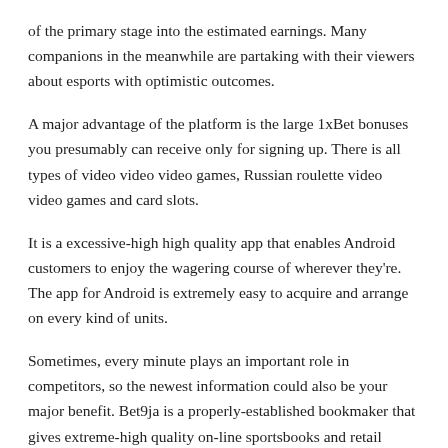of the primary stage into the estimated earnings. Many companions in the meanwhile are partaking with their viewers about esports with optimistic outcomes.
A major advantage of the platform is the large 1xBet bonuses you presumably can receive only for signing up. There is all types of video video video games, Russian roulette video video games and card slots.
It is a excessive-high high quality app that enables Android customers to enjoy the wagering course of wherever they're. The app for Android is extremely easy to acquire and arrange on every kind of units.
Sometimes, every minute plays an important role in competitors, so the newest information could also be your major benefit. Bet9ja is a properly-established bookmaker that gives extreme-high quality on-line sportsbooks and retail corporations fully to Nigerians. The information on 1xBet app